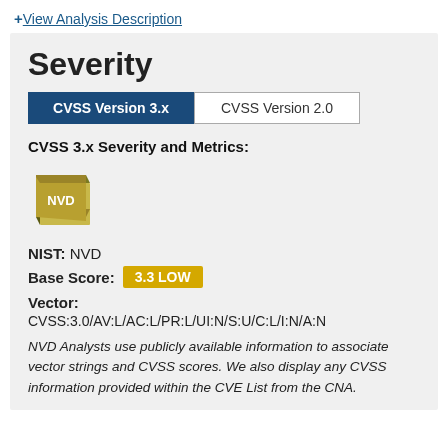+ View Analysis Description
Severity
CVSS Version 3.x | CVSS Version 2.0
CVSS 3.x Severity and Metrics:
[Figure (logo): NVD book logo in gold/olive color with white NVD text]
NIST: NVD
Base Score: 3.3 LOW
Vector:
CVSS:3.0/AV:L/AC:L/PR:L/UI:N/S:U/C:L/I:N/A:N
NVD Analysts use publicly available information to associate vector strings and CVSS scores. We also display any CVSS information provided within the CVE List from the CNA.